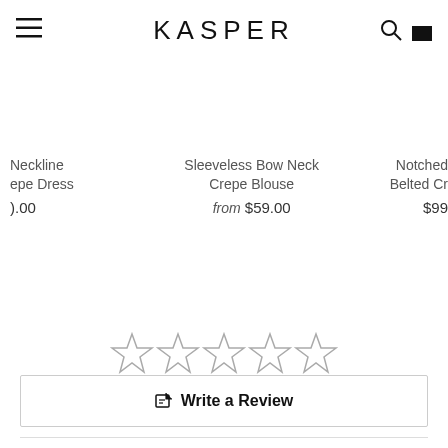KASPER
Neckline epe Dress >.00
Sleeveless Bow Neck Crepe Blouse from $59.00
Notched Belted Cr $99
[Figure (other): Five empty star rating icons]
Write a Review
[Figure (other): Five filled/solid star rating icons (partial, bottom of page)]